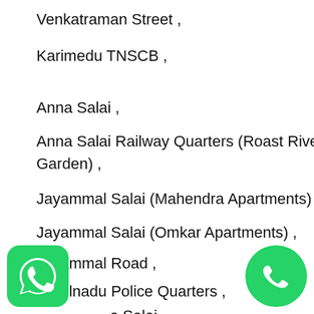Venkatraman Street ,
Karimedu TNSCB ,
Anna Salai ,
Anna Salai Railway Quarters (Roast River Garden) ,
Jayammal Salai (Mahendra Apartments) ,
Jayammal Salai (Omkar Apartments) ,
Jeyammal Road ,
Tamilnadu Police Quarters ,
a Salai ,
Babu Maddi Street ,
[Figure (logo): WhatsApp green logo icon]
[Figure (logo): Phone call green circle icon]